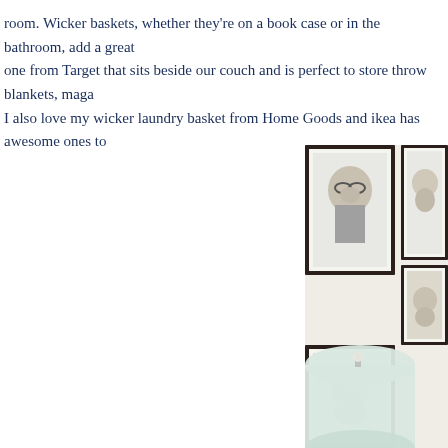room. Wicker baskets, whether they're on a book case or in the bathroom, add a great one from Target that sits beside our couch and is perfect to store throw blankets, maga I also love my wicker laundry basket from Home Goods and ikea has awesome ones to
[Figure (photo): A room interior photo showing a gallery wall with multiple dark-framed black-and-white portrait photographs of children, and a lamp with a cylindrical light green/white shade in the foreground.]